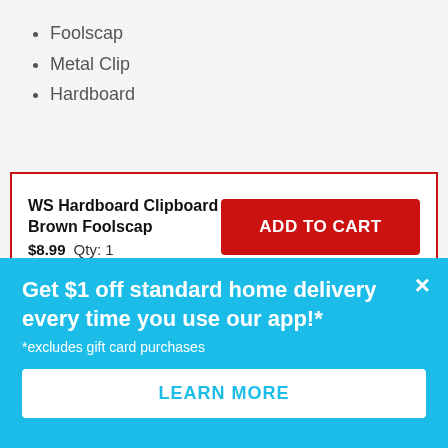Foolscap
Metal Clip
Hardboard
WS Hardboard Clipboard Brown Foolscap $8.99  Qty: 1
ADD TO CART
You may also like
[Figure (photo): Red clipboard product photos partially visible]
Get $1 off standard home delivery every time you use our app!* *excludes gift card purchases
LEARN MORE